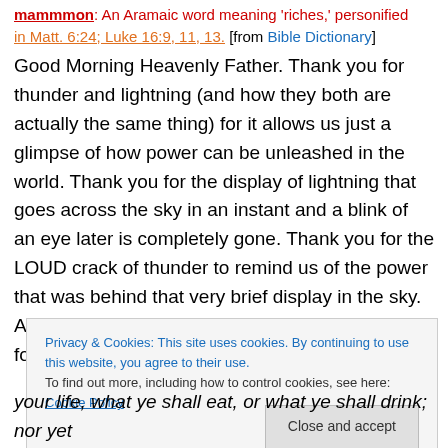mammmon: An Aramaic word meaning 'riches,' personified in Matt. 6:24; Luke 16:9, 11, 13. [from Bible Dictionary]
Good Morning Heavenly Father. Thank you for thunder and lightning (and how they both are actually the same thing) for it allows us just a glimpse of how power can be unleashed in the world. Thank you for the display of lightning that goes across the sky in an instant and a blink of an eye later is completely gone. Thank you for the LOUD crack of thunder to remind us of the power that was behind that very brief display in the sky. And thank you for the scripture for today's prayer for your daughter Lindsey:
Privacy & Cookies: This site uses cookies. By continuing to use this website, you agree to their use. To find out more, including how to control cookies, see here: Cookie Policy
your life, what ye shall eat, or what ye shall drink; nor yet